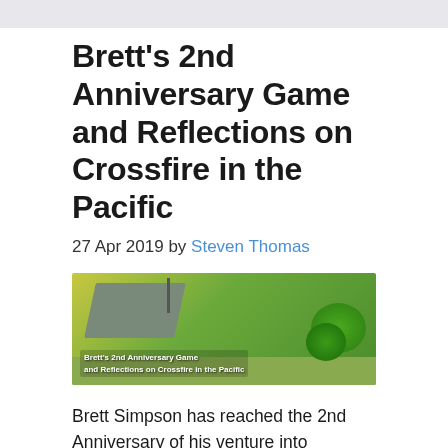Brett's 2nd Anniversary Game and Reflections on Crossfire in the Pacific
27 Apr 2019 by Steven Thomas
[Figure (photo): Screenshot from a wargame showing a Pacific theater scene with a building roof, Japanese rising sun flag, and lush green bushes. Text overlay reads: Brett's 2nd Anniversary Game and Reflections on Crossfire in the Pacific]
Brett Simpson has reached the 2nd Anniversary of his venture into Crossfire in the Pacific. Brett sent through a battle report and his reflections on his two year journey. I